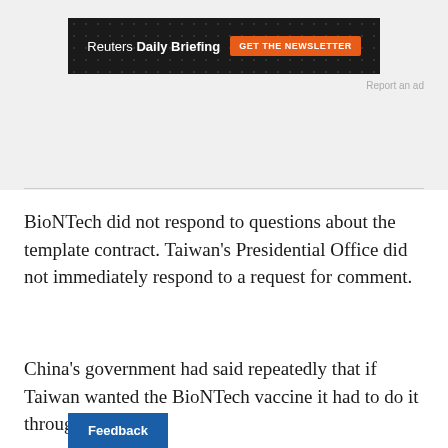[Figure (other): Reuters Daily Briefing advertisement banner with GET THE NEWSLETTER button on dark background with bokeh pattern]
Report an ad
BioNTech did not respond to questions about the template contract. Taiwan's Presidential Office did not immediately respond to a request for comment.
China's government had said repeatedly that if Taiwan wanted the BioNTech vaccine it had to do it through Fosun.